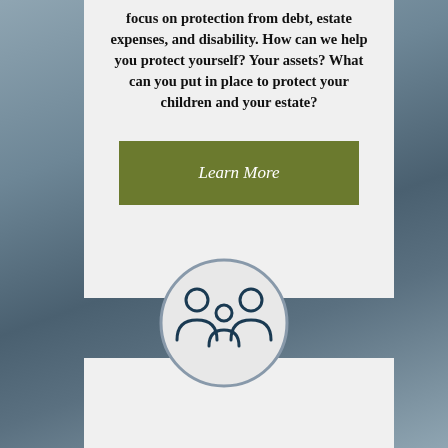focus on protection from debt, estate expenses, and disability. How can we help you protect yourself? Your assets? What can you put in place to protect your children and your estate?
[Figure (other): Olive/dark green button with italic white text reading 'Learn More']
[Figure (illustration): Light gray circle with a dark navy blue icon of a family (two adults and a child) in outline style]